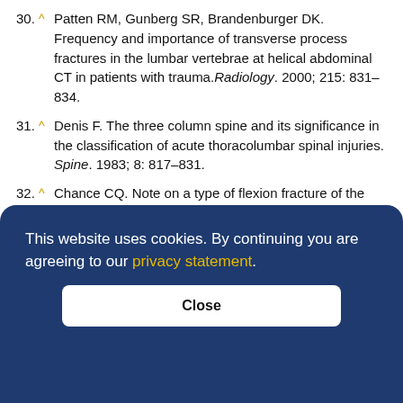30. ^ Patten RM, Gunberg SR, Brandenburger DK. Frequency and importance of transverse process fractures in the lumbar vertebrae at helical abdominal CT in patients with trauma. Radiology. 2000; 215: 831–834.
31. ^ Denis F. The three column spine and its significance in the classification of acute thoracolumbar spinal injuries. Spine. 1983; 8: 817–831.
32. ^ Chance CQ. Note on a type of flexion fracture of the spine. Br J Radiol. 1948; 21: 452.
33. ^ Diaz JJ, Cullinane DC, Altman DT, et al.. Practice management guidelines for the screening of [truncated by cookie overlay] ...–718. ...l., and ...73– ...man J, Hughes R. Trauma. Ann Emerg Med. 1995; 26: 126–129.
This website uses cookies. By continuing you are agreeing to our privacy statement.